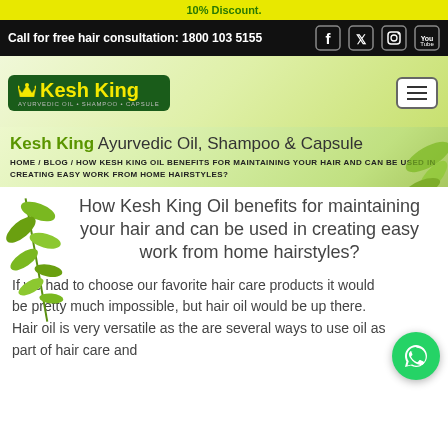10% Discount.
Call for free hair consultation: 1800 103 5155
[Figure (logo): Kesh King Ayurvedic Oil Shampoo Capsule logo on green background]
Kesh King Ayurvedic Oil, Shampoo & Capsule
HOME / BLOG / HOW KESH KING OIL BENEFITS FOR MAINTAINING YOUR HAIR AND CAN BE USED IN CREATING EASY WORK FROM HOME HAIRSTYLES?
How Kesh King Oil benefits for maintaining your hair and can be used in creating easy work from home hairstyles?
If we had to choose our favorite hair care products it would be pretty much impossible, but hair oil would be up there. Hair oil is very versatile as the are several ways to use oil as part of hair care and